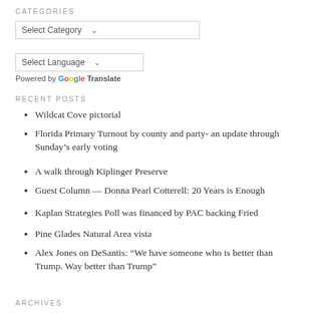CATEGORIES
Select Category
Select Language
Powered by Google Translate
RECENT POSTS
Wildcat Cove pictorial
Florida Primary Turnout by county and party- an update through Sunday’s early voting
A walk through Kiplinger Preserve
Guest Column — Donna Pearl Cotterell: 20 Years is Enough
Kaplan Strategies Poll was financed by PAC backing Fried
Pine Glades Natural Area vista
Alex Jones on DeSantis: “We have someone who is better than Trump. Way better than Trump”
ARCHIVES